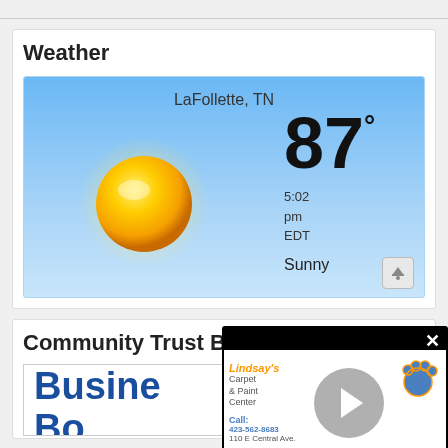Weather
[Figure (screenshot): Weather widget showing LaFollette, TN at 87 degrees, Sunny, 5:02 pm EDT, with sun illustration on blue sky background]
Community Trust Ba...
[Figure (screenshot): Lindsay's Carpet & Paint Center advertisement popup with play button, paw print logo, phone 423-562-8683, 110 E Central Ave.]